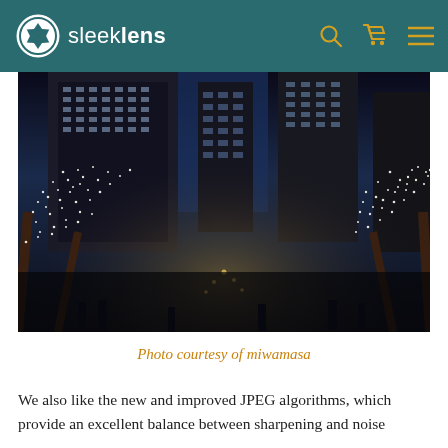sleeklens
[Figure (photo): Night cityscape with bare trees decorated with white fairy lights lining a city street, tall illuminated office buildings in background, dark blue twilight sky, pedestrians visible at street level]
Photo courtesy of miwamasa
We also like the new and improved JPEG algorithms, which provide an excellent balance between sharpening and noise